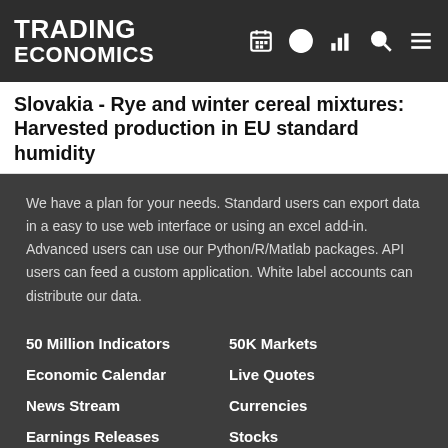TRADING ECONOMICS
Slovakia - Rye and winter cereal mixtures: Harvested production in EU standard humidity
We have a plan for your needs. Standard users can export data in a easy to use web interface or using an excel add-in. Advanced users can use our Python/R/Matlab packages. API users can feed a custom application. White label accounts can distribute our data.
50 Million Indicators
50K Markets
Economic Calendar
Live Quotes
News Stream
Currencies
Earnings Releases
Stocks
Credit Ratings
Commodities
Forecasts
Bonds
Get Started